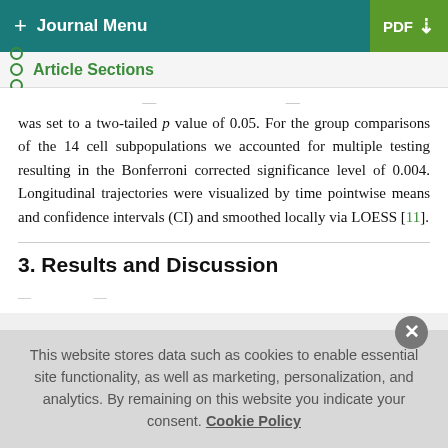+ Journal Menu  PDF ↓
Article Sections
was set to a two-tailed p value of 0.05. For the group comparisons of the 14 cell subpopulations we accounted for multiple testing resulting in the Bonferroni corrected significance level of 0.004. Longitudinal trajectories were visualized by time pointwise means and confidence intervals (CI) and smoothed locally via LOESS [11].
3. Results and Discussion
This website stores data such as cookies to enable essential site functionality, as well as marketing, personalization, and analytics. By remaining on this website you indicate your consent. Cookie Policy